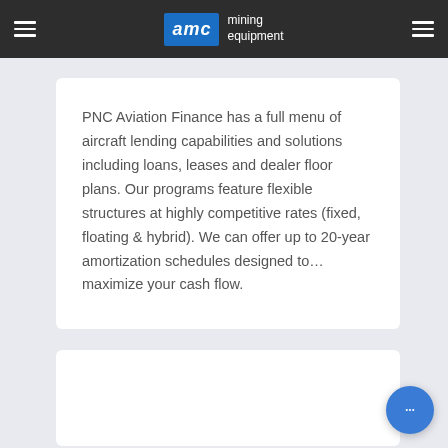AMC mining equipment
PNC Aviation Finance has a full menu of aircraft lending capabilities and solutions including loans, leases and dealer floor plans. Our programs feature flexible structures at highly competitive rates (fixed, floating & hybrid). We can offer up to 20-year amortization schedules designed to... maximize your cash flow.